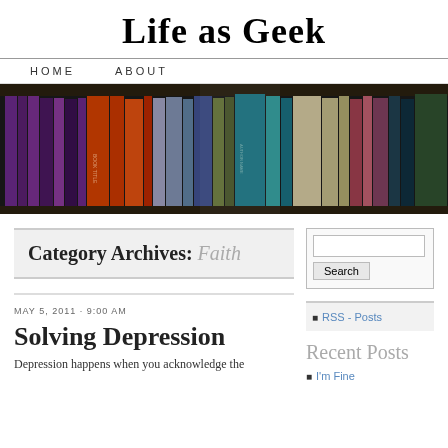Life as Geek
HOME   ABOUT
[Figure (photo): Photo of a bookshelf filled with many colorful books viewed from the side.]
Category Archives: Faith
MAY 5, 2011 · 9:00 AM
Solving Depression
Depression happens when you acknowledge the
RSS - Posts
Recent Posts
I'm Fine